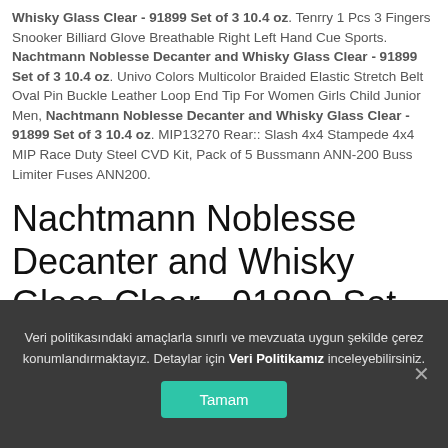Whisky Glass Clear - 91899 Set of 3 10.4 oz. Tenrry 1 Pcs 3 Fingers Snooker Billiard Glove Breathable Right Left Hand Cue Sports. Nachtmann Noblesse Decanter and Whisky Glass Clear - 91899 Set of 3 10.4 oz. Univo Colors Multicolor Braided Elastic Stretch Belt Oval Pin Buckle Leather Loop End Tip For Women Girls Child Junior Men, Nachtmann Noblesse Decanter and Whisky Glass Clear - 91899 Set of 3 10.4 oz. MIP13270 Rear:: Slash 4x4 Stampede 4x4 MIP Race Duty Steel CVD Kit, Pack of 5 Bussmann ANN-200 Buss Limiter Fuses ANN200.
Nachtmann Noblesse Decanter and Whisky Glass Clear - 91899 Set of 3 10.4 oz
Veri politikasındaki amaçlarla sınırlı ve mevzuata uygun şekilde çerez konumlandırmaktayız. Detaylar için Veri Politikamız inceleyebilirsiniz.